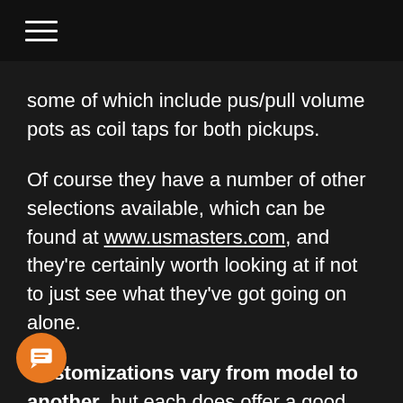some of which include pus/pull volume pots as coil taps for both pickups.
Of course they have a number of other selections available, which can be found at www.usmasters.com, and they're certainly worth looking at if not to just see what they've got going on alone.
Customizations vary from model to another, but each does offer a good array of wood, electronics, hardware, and paint alternatives so you have plenty of